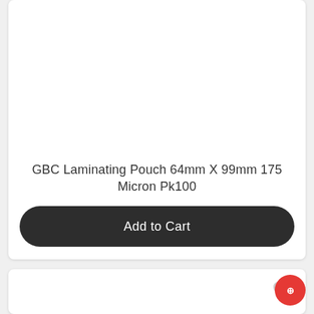GBC Laminating Pouch 64mm X 99mm 175 Micron Pk100
$23.55
Add to Cart